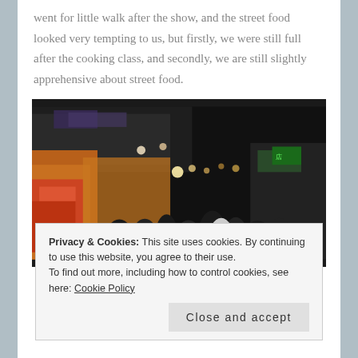went for little walk after the show, and the street food looked very tempting to us, but firstly, we were still full after the cooking class, and secondly, we are still slightly apprehensive about street food.
[Figure (photo): Night market street food scene with crowds of people walking through illuminated market stalls]
Privacy & Cookies: This site uses cookies. By continuing to use this website, you agree to their use.
To find out more, including how to control cookies, see here: Cookie Policy
[Close and accept]